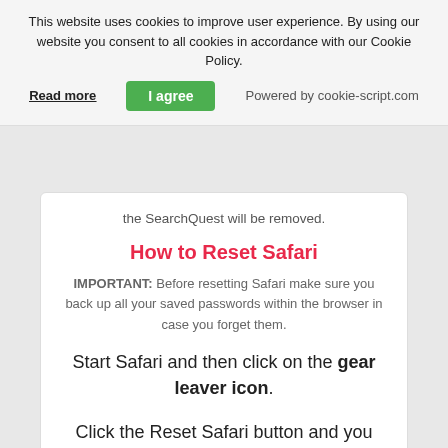This website uses cookies to improve user experience. By using our website you consent to all cookies in accordance with our Cookie Policy.
Read more | I agree | Powered by cookie-script.com
the SearchQuest will be removed.
How to Reset Safari
IMPORTANT: Before resetting Safari make sure you back up all your saved passwords within the browser in case you forget them.
Start Safari and then click on the gear leaver icon.
Click the Reset Safari button and you will reset the browser.